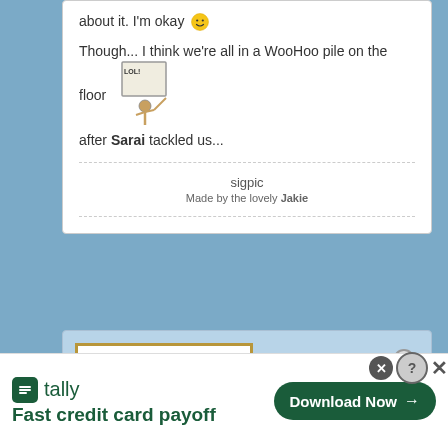about it. I'm okay 🙂
Though... I think we're all in a WooHoo pile on the floor after Sarai tackled us...
sigpic
Made by the lovely Jakie
[Figure (illustration): Humorous sign reading 'IN CASE OF FIRE - EXIT BUILDING BEFORE TWEETING ABOUT IT' with a flame graphic]
Tally - Fast credit card payoff
Download Now →